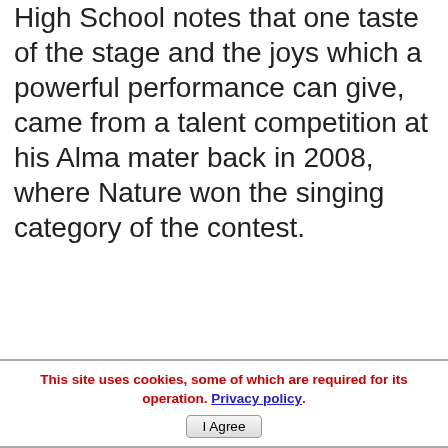High School notes that one taste of the stage and the joys which a powerful performance can give, came from a talent competition at his Alma mater back in 2008, where Nature won the singing category of the contest.
This site uses cookies, some of which are required for its operation. Privacy policy. I Agree